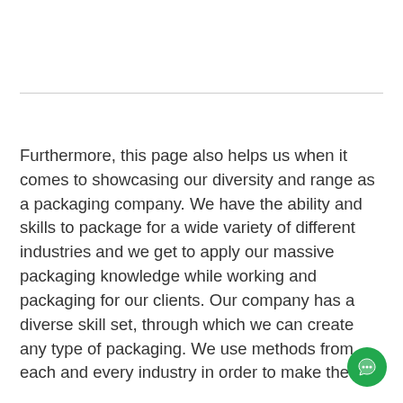Furthermore, this page also helps us when it comes to showcasing our diversity and range as a packaging company. We have the ability and skills to package for a wide variety of different industries and we get to apply our massive packaging knowledge while working and packaging for our clients. Our company has a diverse skill set, through which we can create any type of packaging. We use methods from each and every industry in order to make the